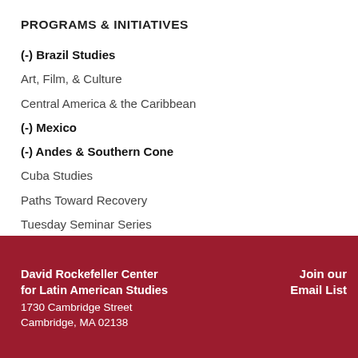PROGRAMS & INITIATIVES
(-) Brazil Studies
Art, Film, & Culture
Central America & the Caribbean
(-) Mexico
(-) Andes & Southern Cone
Cuba Studies
Paths Toward Recovery
Tuesday Seminar Series
David Rockefeller Center for Latin American Studies
1730 Cambridge Street
Cambridge, MA 02138
Join our Email List